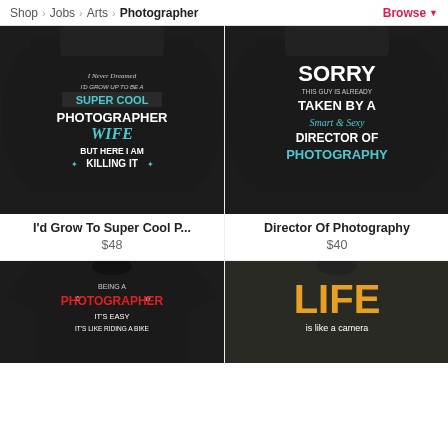Shop > Jobs > Arts > Photographer  Browse
[Figure (photo): Black hoodie with text: I Never Dreamed I'd Grow Up To Be A Super Cool Photographer Wife But Here I Am Killing It]
[Figure (photo): Black hoodie with text: Sorry This Guy Is Already Taken By A Smart & Sexy Director of Photography]
I'd Grow To Super Cool P...
$48
Director Of Photography
$40
[Figure (photo): Black t-shirt with text: Being A Photographer It's Easy It's Like Riding A Bike]
[Figure (photo): Dark t-shirt with text: LIFE is like a camera (in yellow/gold lettering)]